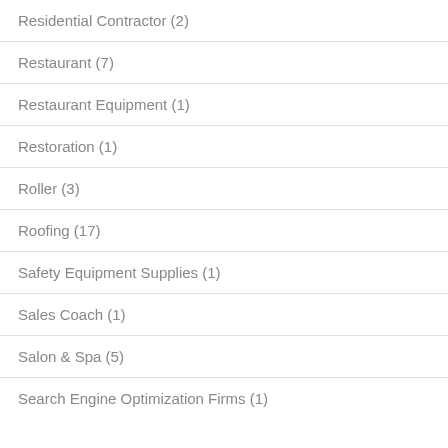Residential Contractor (2)
Restaurant (7)
Restaurant Equipment (1)
Restoration (1)
Roller (3)
Roofing (17)
Safety Equipment Supplies (1)
Sales Coach (1)
Salon & Spa (5)
Search Engine Optimization Firms (1)